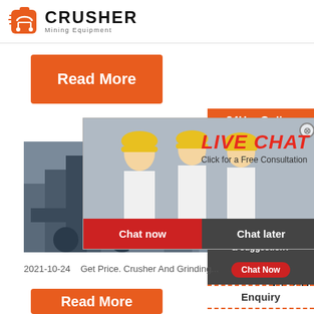[Figure (logo): Crusher Mining Equipment logo with red shopping bag icon and bold CRUSHER text]
Read More
[Figure (photo): Mining equipment / construction site machinery photo on left; Live chat popup overlay with workers in hard hats, LIVE CHAT text, Click for a Free Consultation, Chat now and Chat later buttons]
equip...
in eth...
[Figure (infographic): Right sidebar: 24Hrs Online, agent with headset photo, Need questions & suggestion?, Chat Now button, Enquiry section, limingjlmofen@sina.com]
2021-10-24   Get Price. Crusher And Grinding...
Read More